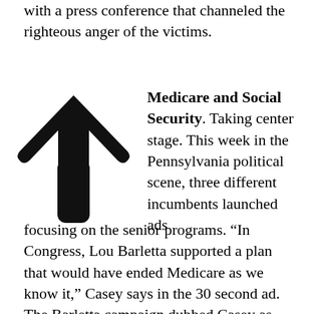with a press conference that channeled the righteous anger of the victims.
[Figure (illustration): Large upward-pointing arrow icon in black with rounded ends]
Medicare and Social Security. Taking center stage. This week in the Pennsylvania political scene, three different incumbents launched ads focusing on the senior programs. “In Congress, Lou Barletta supported a plan that would have ended Medicare as we know it,” Casey says in the 30 second ad. The Barletta campaign dubbed Casey as “vulnerable” for releasing an attack ad in August and stated